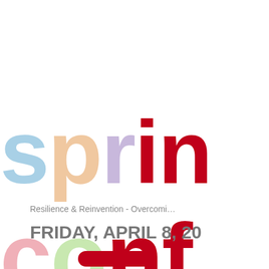spring conference
Resilience & Reinvention - Overcomi...
FRIDAY, APRIL 8, 20...